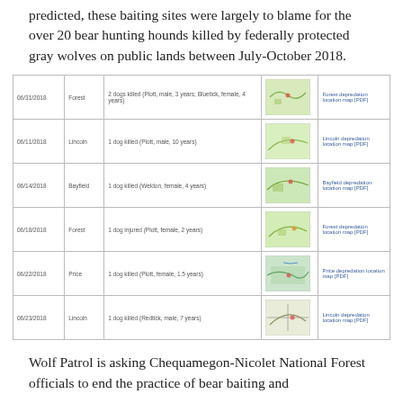predicted, these baiting sites were largely to blame for the over 20 bear hunting hounds killed by federally protected gray wolves on public lands between July-October 2018.
| Date | County | Description | Map | Link |
| --- | --- | --- | --- | --- |
| 06/31/2018 | Forest | 2 dogs killed (Plott, male, 3 years; Bluetick, female, 4 years) | [map] | Forest depredation location map [PDF] |
| 06/11/2018 | Lincoln | 1 dog killed (Plott, male, 10 years) | [map] | Lincoln depredation location map [PDF] |
| 06/14/2018 | Bayfield | 1 dog killed (Weldon, female, 4 years) | [map] | Bayfield depredation location map [PDF] |
| 06/18/2018 | Forest | 1 dog injured (Plott, female, 2 years) | [map] | Forest depredation location map [PDF] |
| 06/22/2018 | Price | 1 dog killed (Plott, female, 1.5 years) | [map] | Price depredation location map [PDF] |
| 06/23/2018 | Lincoln | 1 dog killed (Redtick, male, 7 years) | [map] | Lincoln depredation location map [PDF] |
Wolf Patrol is asking Chequamegon-Nicolet National Forest officials to end the practice of bear baiting and